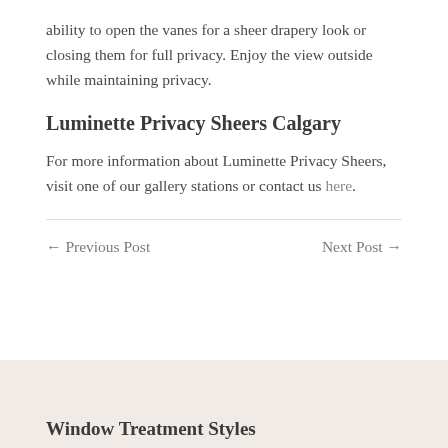ability to open the vanes for a sheer drapery look or closing them for full privacy. Enjoy the view outside while maintaining privacy.
Luminette Privacy Sheers Calgary
For more information about Luminette Privacy Sheers, visit one of our gallery stations or contact us here.
← Previous Post
Next Post →
Window Treatment Styles